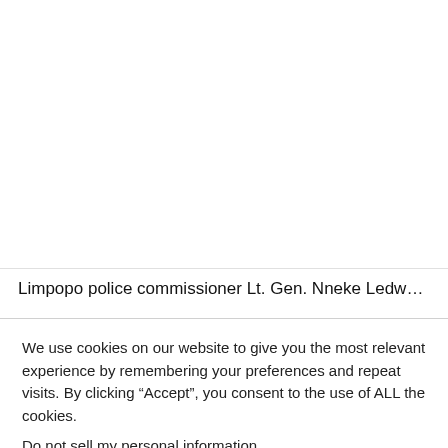Limpopo police commissioner Lt. Gen. Nneke Ledwaba
We use cookies on our website to give you the most relevant experience by remembering your preferences and repeat visits. By clicking “Accept”, you consent to the use of ALL the cookies.
Do not sell my personal information.
Cookie Settings
Accept